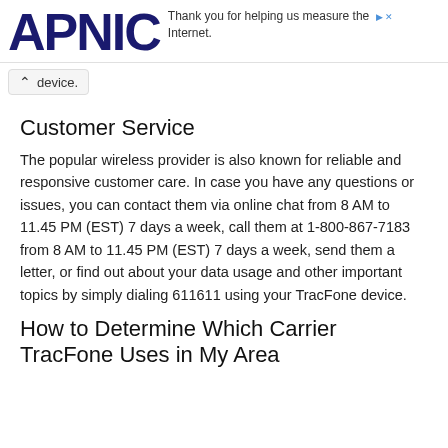APNIC — Thank you for helping us measure the Internet.
device.
Customer Service
The popular wireless provider is also known for reliable and responsive customer care. In case you have any questions or issues, you can contact them via online chat from 8 AM to 11.45 PM (EST) 7 days a week, call them at 1-800-867-7183 from 8 AM to 11.45 PM (EST) 7 days a week, send them a letter, or find out about your data usage and other important topics by simply dialing 611611 using your TracFone device.
How to Determine Which Carrier TracFone Uses in My Area